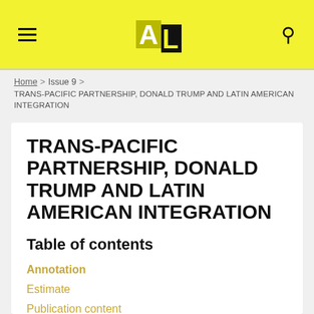≡  AL  🔍
Home > Issue 9 > TRANS-PACIFIC PARTNERSHIP, DONALD TRUMP AND LATIN AMERICAN INTEGRATION
TRANS-PACIFIC PARTNERSHIP, DONALD TRUMP AND LATIN AMERICAN INTEGRATION
Table of contents
Annotation
Estimate
Publication content
References